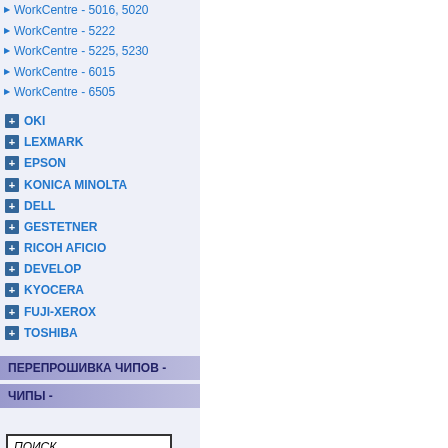WorkCentre - 5016, 5020
WorkCentre - 5222
WorkCentre - 5225, 5230
WorkCentre - 6015
WorkCentre - 6505
OKI
LEXMARK
EPSON
KONICA MINOLTA
DELL
GESTETNER
RICOH AFICIO
DEVELOP
KYOCERA
FUJI-XEROX
TOSHIBA
ПЕРЕПРОШИВКА ЧИПОВ -
ЧИПЫ -
ПОИСК...
10.04.2020
Заправка Konica Minolta Bizhub 4020
04.04.2020